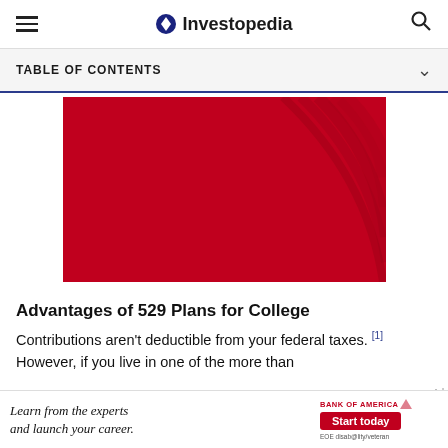Investopedia
TABLE OF CONTENTS
[Figure (other): Red advertisement banner with curved decorative lines on right side]
Advantages of 529 Plans for College
Contributions aren't deductible from your federal taxes. [1] However, if you live in one of the more than
[Figure (other): Bank of America advertisement: Learn from the experts and launch your career. Start today. EOE disability/veteran]